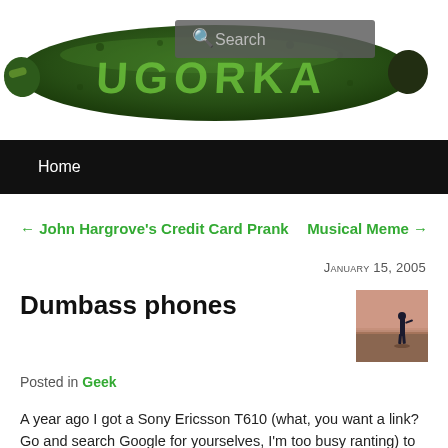[Figure (illustration): A dark green cucumber with the text 'UGORKA' carved/written on it in lighter green letters, serving as a website logo/header image. A search box overlay appears in the top right portion of the cucumber.]
Home
← John Hargrove's Credit Card Prank
Musical Meme →
January 15, 2005
Dumbass phones
Posted in Geek
A year ago I got a Sony Ericsson T610 (what, you want a link? Go and search Google for yourselves, I'm too busy ranting) to replace a Siemens C35i which I had owned for